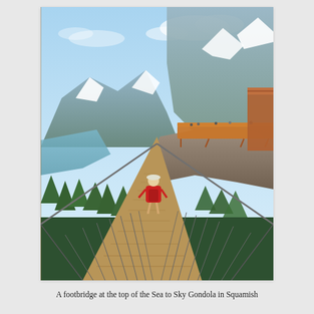[Figure (photo): A person in a red shirt walking along a wooden suspension footbridge high above a mountainous landscape. The bridge extends into the distance toward a viewing platform with orange railings. Snow-capped mountains and a fjord or lake are visible in the background under a blue sky. Dense green conifer trees cover the slopes below.]
A footbridge at the top of the Sea to Sky Gondola in Squamish